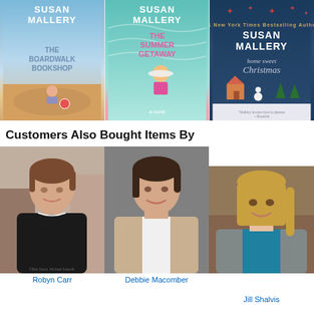[Figure (photo): Three book covers by Susan Mallery: The Boardwalk Bookshop, The Summer Getaway, and Home Sweet Christmas]
Customers Also Bought Items By
[Figure (photo): Author photo of Robyn Carr, a woman with short brown hair wearing a black top]
[Figure (photo): Author photo of Debbie Macomber, a woman with short brown hair wearing a beige jacket]
[Figure (photo): Author photo of Jill Shalvis, a woman with long blonde hair wearing a gray jacket]
Robyn Carr
Debbie Macomber
Jill Shalvis